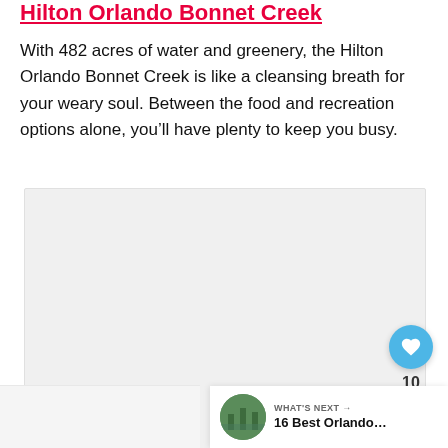Hilton Orlando Bonnet Creek
With 482 acres of water and greenery, the Hilton Orlando Bonnet Creek is like a cleansing breath for your weary soul. Between the food and recreation options alone, you'll have plenty to keep you busy.
[Figure (photo): Light gray placeholder image area for hotel photo, with three dot indicators at the bottom center indicating a slideshow. A heart (like) button with count of 10 and a share button are overlaid on the right side.]
WHAT'S NEXT → 16 Best Orlando...